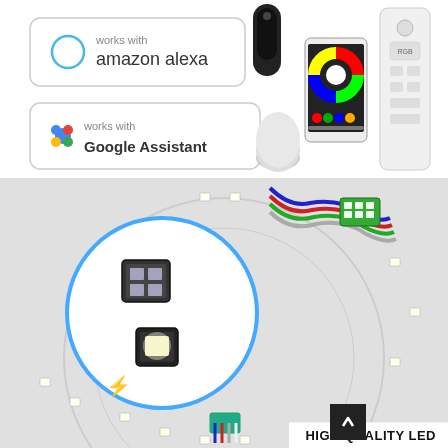[Figure (photo): Smart home compatibility badges and devices: 'works with amazon alexa' badge with Alexa speaker, 'works with Google Assistant' badge with Google Home mini, a smartphone showing an RGB color control app, and a white RF remote control]
[Figure (photo): Close-up photo of an LED circuit board showing RGB and white LED chips with colorful wiring. A circular magnified inset highlights two LED chip types. Text overlay reads 'HIGH QUALITY LED'.]
HIGH QUALITY LED